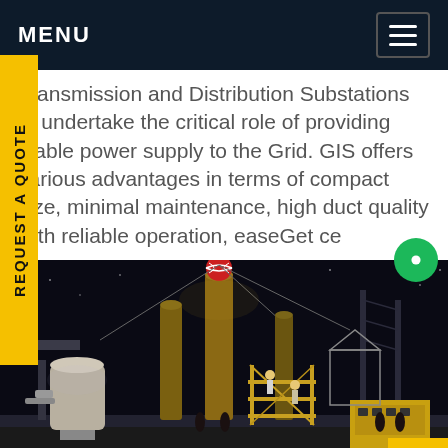MENU
Transmission and Distribution Substations to undertake the critical role of providing stable power supply to the Grid. GIS offers various advantages in terms of compact size, minimal maintenance, high duct quality with reliable operation, easeGet ce
[Figure (photo): Night-time photo of an electrical substation with workers on scaffolding, large cylindrical equipment, power lines, and yellow equipment visible in background against dark sky]